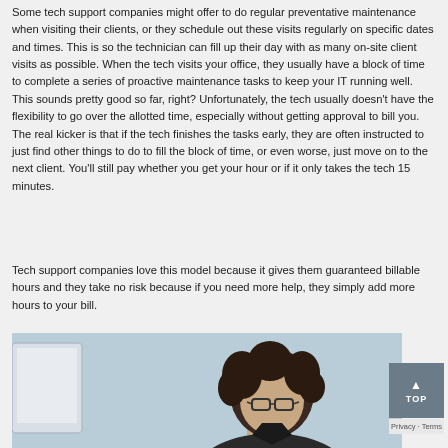Some tech support companies might offer to do regular preventative maintenance when visiting their clients, or they schedule out these visits regularly on specific dates and times. This is so the technician can fill up their day with as many on-site client visits as possible. When the tech visits your office, they usually have a block of time to complete a series of proactive maintenance tasks to keep your IT running well. This sounds pretty good so far, right? Unfortunately, the tech usually doesn't have the flexibility to go over the allotted time, especially without getting approval to bill you. The real kicker is that if the tech finishes the tasks early, they are often instructed to just find other things to do to fill the block of time, or even worse, just move on to the next client. You'll still pay whether you get your hour or if it only takes the tech 15 minutes.
Tech support companies love this model because it gives them guaranteed billable hours and they take no risk because if you need more help, they simply add more hours to your bill.
[Figure (photo): Photo of a man with curly dark hair and glasses sitting in front of a computer monitor, against a light blue/grey background.]